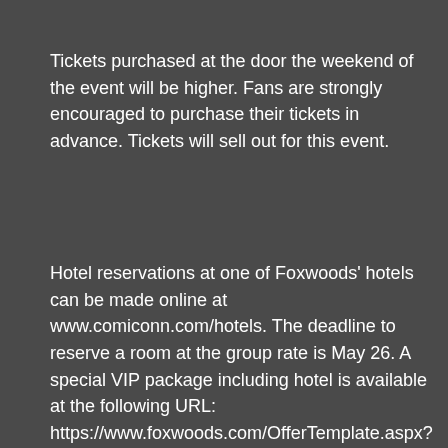Tickets purchased at the door the weekend of the event will be higher. Fans are strongly encouraged to purchase their tickets in advance. Tickets will sell out for this event.
Hotel reservations at one of Foxwoods' hotels can be made online at www.comiconn.com/hotels. The deadline to reserve a room at the group rate is May 26. A special VIP package including hotel is available at the following URL: https://www.foxwoods.com/OfferTemplate.aspx?id=9688.